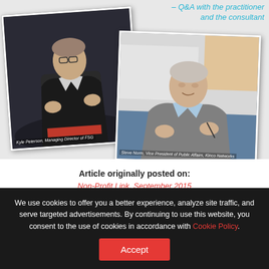[Figure (photo): Two overlapping tilted photos of men speaking/gesturing. Left photo: Kyle Peterson, Managing Director of FSG - a man in dark jacket gesturing with hands. Right photo: Steve Norm, Vice President of Public Affairs, Kinco Networks - an older man in grey cardigan gesturing.]
– Q&A with the practitioner and the consultant
Article originally posted on:
Non-Profit Link, September 2015
We use cookies to offer you a better experience, analyze site traffic, and serve targeted advertisements. By continuing to use this website, you consent to the use of cookies in accordance with Cookie Policy.